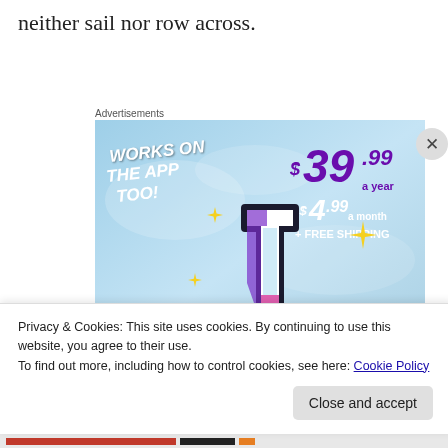neither sail nor row across.
Advertisements
[Figure (illustration): Tumblr ad with light blue sky background, featuring a stylized Tumblr 't' logo in pink/purple/white, yellow sparkle stars, text 'WORKS ON THE APP TOO!' in white italic, pricing '$39.99 a year or $4.99 a month + FREE SHIPPING' in purple/white]
Privacy & Cookies: This site uses cookies. By continuing to use this website, you agree to their use.
To find out more, including how to control cookies, see here: Cookie Policy
Close and accept